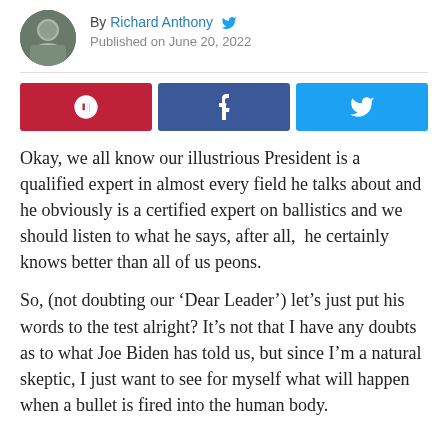By Richard Anthony  Published on June 20, 2022
[Figure (other): Three social share buttons: Parler (red), Facebook (dark blue), Twitter (light blue)]
Okay, we all know our illustrious President is a qualified expert in almost every field he talks about and he obviously is a certified expert on ballistics and we should listen to what he says, after all,  he certainly knows better than all of us peons.
So, (not doubting our ‘Dear Leader’) let’s just put his words to the test alright? It’s not that I have any doubts as to what Joe Biden has told us, but since I’m a natural skeptic, I just want to see for myself what will happen when a bullet is fired into the human body.